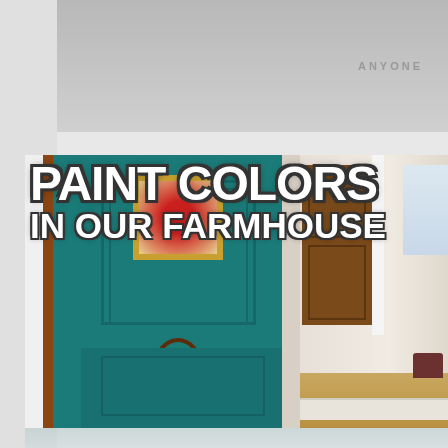[Figure (photo): Top partial image showing a faded interior scene with text 'ANYONE' on the right side, partially cropped]
[Figure (photo): Large image titled 'PAINT COLORS IN OUR FARMHOUSE' showing a teal/green accent wall with wainscoting, antique wooden chair, gold-framed artwork with red flowers on the left panel, and a wooden door with hallway view on the right panel. Bold white text with dark outline overlays the image.]